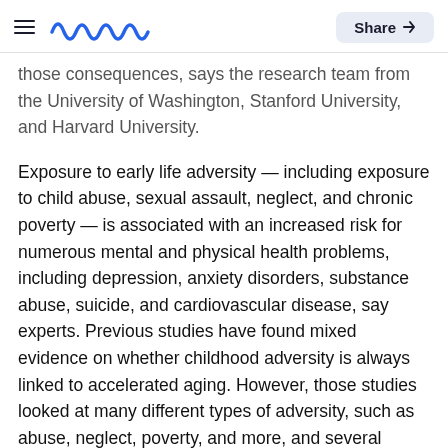Meaww | Share
those consequences, says the research team from the University of Washington, Stanford University, and Harvard University.
Exposure to early life adversity — including exposure to child abuse, sexual assault, neglect, and chronic poverty — is associated with an increased risk for numerous mental and physical health problems, including depression, anxiety disorders, substance abuse, suicide, and cardiovascular disease, say experts. Previous studies have found mixed evidence on whether childhood adversity is always linked to accelerated aging. However, those studies looked at many different types of adversity, such as abuse, neglect, poverty, and more, and several different measures of biological aging. To disentangle the results, the authors